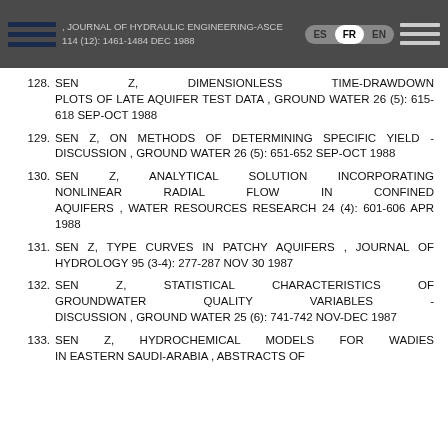, JOURNAL OF HYDRAULIC ENGINEERING-ASCE 114 (12): 1461-1484 DEC 1988
128. SEN Z, DIMENSIONLESS TIME-DRAWDOWN PLOTS OF LATE AQUIFER TEST DATA , GROUND WATER 26 (5): 615-618 SEP-OCT 1988
129. SEN Z, ON METHODS OF DETERMINING SPECIFIC YIELD - DISCUSSION , GROUND WATER 26 (5): 651-652 SEP-OCT 1988
130. SEN Z, ANALYTICAL SOLUTION INCORPORATING NONLINEAR RADIAL FLOW IN CONFINED AQUIFERS , WATER RESOURCES RESEARCH 24 (4): 601-606 APR 1988
131. SEN Z, TYPE CURVES IN PATCHY AQUIFERS , JOURNAL OF HYDROLOGY 95 (3-4): 277-287 NOV 30 1987
132. SEN Z, STATISTICAL CHARACTERISTICS OF GROUNDWATER QUALITY VARIABLES - DISCUSSION , GROUND WATER 25 (6): 741-742 NOV-DEC 1987
133. SEN Z, HYDROCHEMICAL MODELS FOR WADIES IN EASTERN SAUDI-ARABIA , ABSTRACTS OF